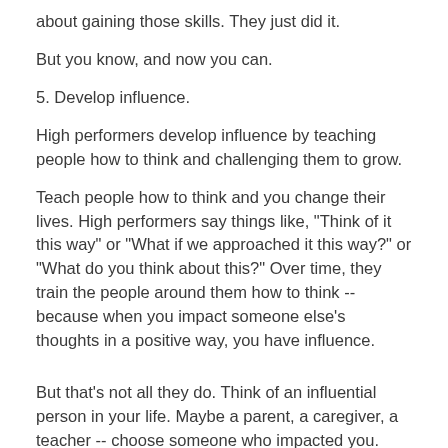about gaining those skills. They just did it.
But you know, and now you can.
5. Develop influence.
High performers develop influence by teaching people how to think and challenging them to grow.
Teach people how to think and you change their lives. High performers say things like, "Think of it this way" or "What if we approached it this way?" or "What do you think about this?" Over time, they train the people around them how to think -- because when you impact someone else's thoughts in a positive way, you have influence.
But that's not all they do. Think of an influential person in your life. Maybe a parent, a caregiver, a teacher -- choose someone who impacted you. They taught you how to think about yourself, or about others, or about the world, and they also challenged you to grow.